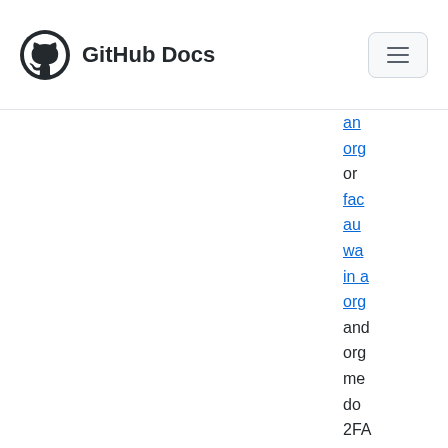GitHub Docs
an org or fac au wa in a org and org me do 2F dis Als org me rem